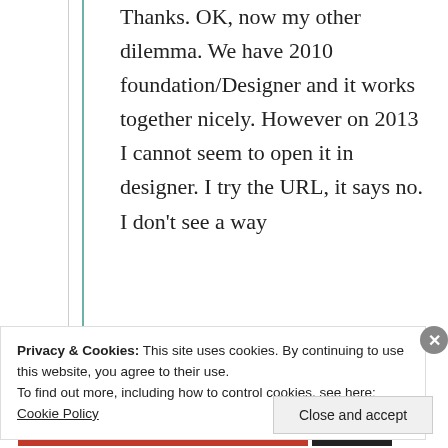Thanks. OK, now my other dilemma. We have 2010 foundation/Designer and it works together nicely. However on 2013 I cannot seem to open it in designer. I try the URL, it says no. I don't see a way
Privacy & Cookies: This site uses cookies. By continuing to use this website, you agree to their use.
To find out more, including how to control cookies, see here: Cookie Policy
Close and accept